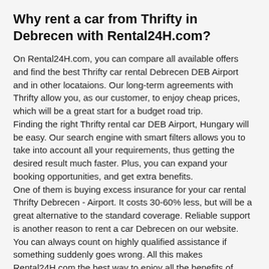Why rent a car from Thrifty in Debrecen with Rental24H.com?
On Rental24H.com, you can compare all available offers and find the best Thrifty car rental Debrecen DEB Airport and in other locataions. Our long-term agreements with Thrifty allow you, as our customer, to enjoy cheap prices, which will be a great start for a budget road trip. Finding the right Thrifty rental car DEB Airport, Hungary will be easy. Our search engine with smart filters allows you to take into account all your requirements, thus getting the desired result much faster. Plus, you can expand your booking opportunities, and get extra benefits. One of them is buying excess insurance for your car rental Thrifty Debrecen - Airport. It costs 30-60% less, but will be a great alternative to the standard coverage. Reliable support is another reason to rent a car Debrecen on our website. You can always count on highly qualified assistance if something suddenly goes wrong. All this makes Rental24H.com the best way to enjoy all the benefits of Thrifty car rental Debrecen